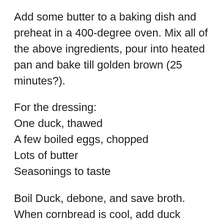Add some butter to a baking dish and preheat in a 400-degree oven. Mix all of the above ingredients, pour into heated pan and bake till golden brown (25 minutes?).
For the dressing:
One duck, thawed
A few boiled eggs, chopped
Lots of butter
Seasonings to taste
Boil Duck, debone, and save broth. When cornbread is cool, add duck meat, chopped boiled eggs, pinch of sage, and salt and pepper to taste. Crumble well with hands, add duck broth and stir until well mixed. Put pats of butter at intervals and bake @ 350 till browned. Add duck broth if it gets too dry and stir. (Lots of real butter and greasy duck